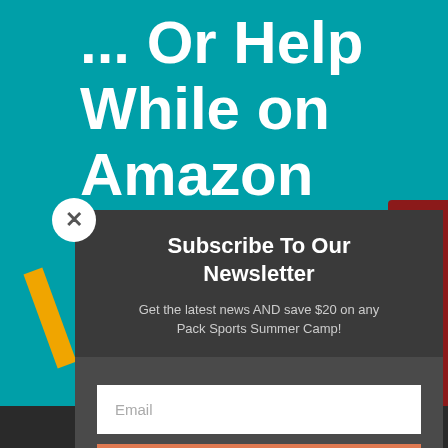... Or Help While on Amazon
[Figure (screenshot): Newsletter subscription modal popup over a teal background with a person in red clothing on the right side and yellow diagonal element on the left. Modal contains subscribe form with email input and subscribe button.]
Subscribe To Our Newsletter
Get the latest news AND save $20 on any Pack Sports Summer Camp!
Email
SUBSCRIBE!
Share This